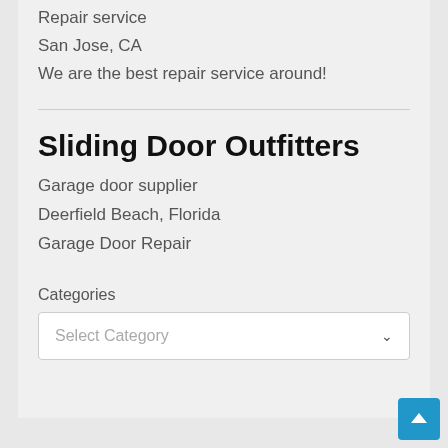Repair service
San Jose, CA
We are the best repair service around!
Sliding Door Outfitters
Garage door supplier
Deerfield Beach, Florida
Garage Door Repair
Categories
Select Category